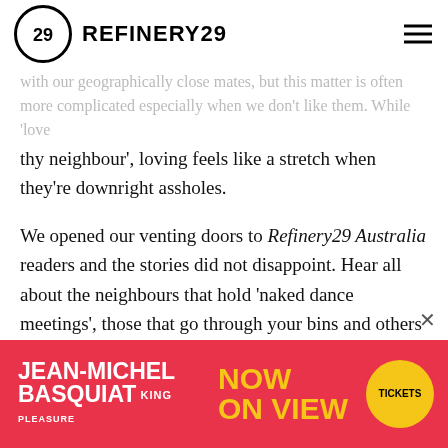REFINERY29
with our geographically close mates, but this matter is often more complicated especially when we don't like them. While 'love thy neighbour', loving feels like a stretch when they're downright assholes.
We opened our venting doors to Refinery29 Australia readers and the stories did not disappoint. Hear all about the neighbours that hold 'naked dance meetings', those that go through your bins and others whose orgasms could be heard blocks away.
ADVERTISEMENT
[Figure (infographic): Jean-Michel Basquiat: King of Pleasure exhibition advertisement banner on red background with yellow text saying NOW ON VIEW and a yellow circle with TICKETS]